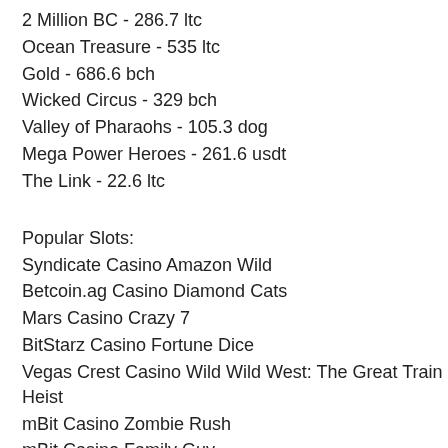2 Million BC - 286.7 ltc
Ocean Treasure - 535 ltc
Gold - 686.6 bch
Wicked Circus - 329 bch
Valley of Pharaohs - 105.3 dog
Mega Power Heroes - 261.6 usdt
The Link - 22.6 ltc
Popular Slots:
Syndicate Casino Amazon Wild
Betcoin.ag Casino Diamond Cats
Mars Casino Crazy 7
BitStarz Casino Fortune Dice
Vegas Crest Casino Wild Wild West: The Great Train Heist
mBit Casino Zombie Rush
mBit Casino Family Guy
King Billy Casino Dogfather
1xSlots Casino Mighty Kong
1xSlots Casino Casino Royale
Vegas Crest Casino Fruitilicious